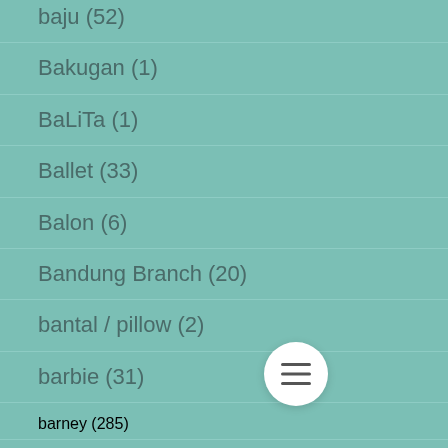baju (52)
Bakugan (1)
BaLiTa (1)
Ballet (33)
Balon (6)
Bandung Branch (20)
bantal / pillow (2)
barbie (31)
barney (285)